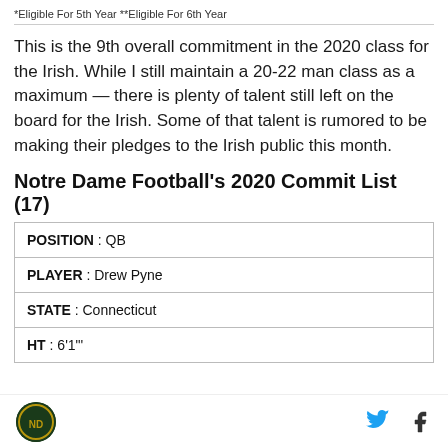*Eligible For 5th Year **Eligible For 6th Year
This is the 9th overall commitment in the 2020 class for the Irish. While I still maintain a 20-22 man class as a maximum — there is plenty of talent still left on the board for the Irish. Some of that talent is rumored to be making their pledges to the Irish public this month.
Notre Dame Football's 2020 Commit List (17)
| Field | Value |
| --- | --- |
| POSITION | QB |
| PLAYER | Drew Pyne |
| STATE | Connecticut |
| HT | 6'1"' |
Notre Dame logo | Twitter | Facebook